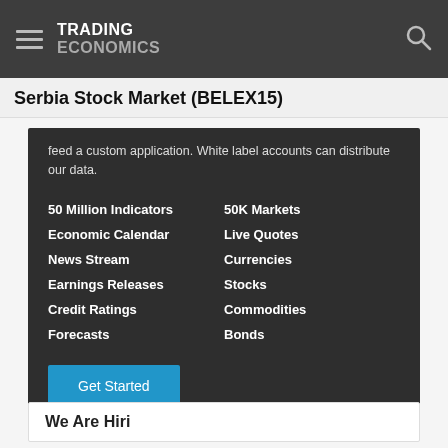TRADING ECONOMICS
Serbia Stock Market (BELEX15)
feed a custom application. White label accounts can distribute our data.
50 Million Indicators
50K Markets
Economic Calendar
Live Quotes
News Stream
Currencies
Earnings Releases
Stocks
Credit Ratings
Commodities
Forecasts
Bonds
Get Started
We Are Hiring